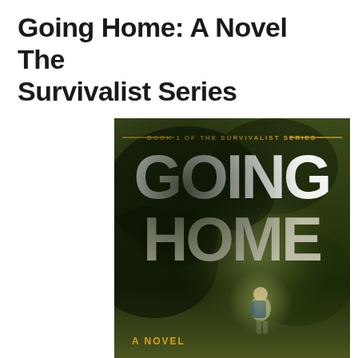Going Home: A Novel The Survivalist Series
[Figure (illustration): Book cover for 'Going Home: A Novel' Book 1 of The Survivalist Series. Dark olive-green smoky background with a figure wearing a backpack walking away from viewer toward a light. Large white block letters spell 'GOING HOME'. Series subtitle in gold text at top. 'A NOVEL' in gold at bottom left.]